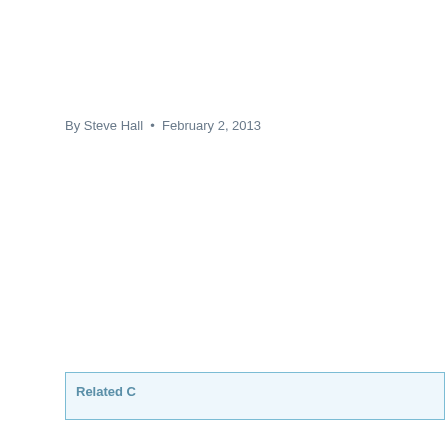By Steve Hall  •  February 2, 2013
Related Content